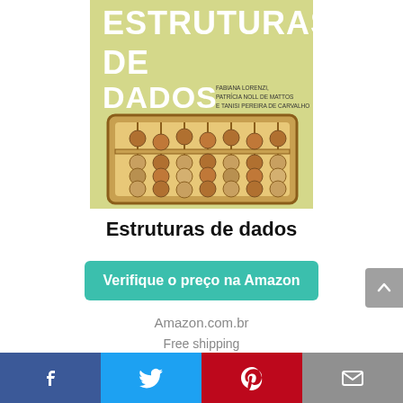[Figure (illustration): Book cover for 'Estruturas de Dados' by Fabiana Lorenzi, Patrícia Noll de Mattos e Tanisi Pereira de Carvalho, featuring an abacus on a yellow-green background with large white bold text.]
Estruturas de dados
Verifique o preço na Amazon
Amazon.com.br
Free shipping
[Figure (infographic): Social share footer bar with Facebook, Twitter, Pinterest, and email icons.]